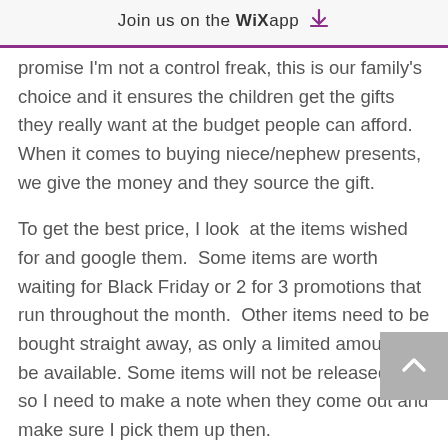Join us on the WiX app ⬇
promise I'm not a control freak, this is our family's choice and it ensures the children get the gifts they really want at the budget people can afford.  When it comes to buying niece/nephew presents, we give the money and they source the gift.
To get the best price, I look  at the items wished for and google them.  Some items are worth waiting for Black Friday or 2 for 3 promotions that run throughout the month.  Other items need to be bought straight away, as only a limited amount will be available. Some items will not be released yet, so I need to make a note when they come out and make sure I pick them up then.